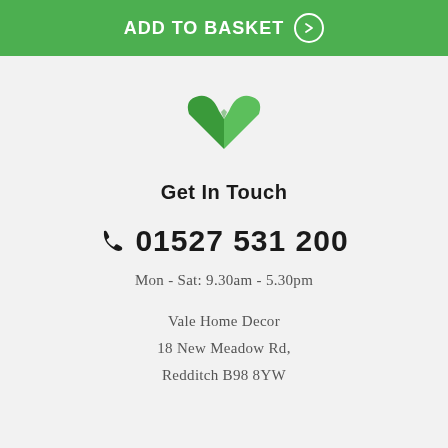[Figure (other): Green 'ADD TO BASKET' button with right arrow circle icon]
[Figure (logo): Green heart-shaped checkmark logo for Vale Home Decor]
Get In Touch
📞 01527 531 200
Mon - Sat: 9.30am - 5.30pm
Vale Home Decor
18 New Meadow Rd,
Redditch B98 8YW